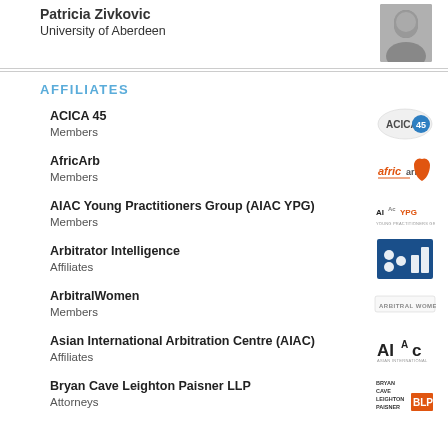Patricia Zivkovic
University of Aberdeen
AFFILIATES
ACICA 45
Members
[Figure (logo): ACICA 45 logo - circular emblem with text ACICA and number 45]
AfricArb
Members
[Figure (logo): AfricArb logo - orange Africa continent shape with stylized text]
AIAC Young Practitioners Group (AIAC YPG)
Members
[Figure (logo): AIAC YPG logo - text logo with stylized letters]
Arbitrator Intelligence
Affiliates
[Figure (logo): Arbitrator Intelligence logo - blue square with white dots and bar chart pattern]
ArbitralWomen
Members
[Figure (logo): ArbitralWomen logo - text logo in grey]
Asian International Arbitration Centre (AIAC)
Affiliates
[Figure (logo): AIAC logo - bold stylized text]
Bryan Cave Leighton Paisner LLP
Attorneys
[Figure (logo): Bryan Cave Leighton Paisner BLP logo - stacked text with red BLP highlight]